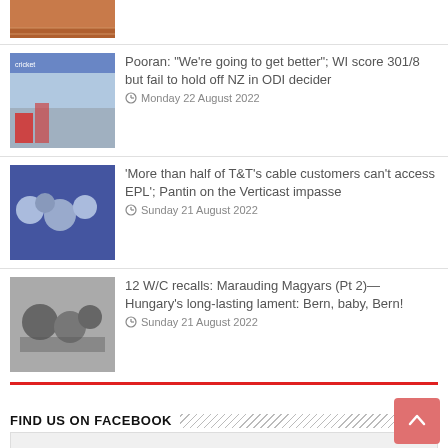[Figure (photo): Partial photo of athletics track at top of page]
[Figure (photo): Cricket player batting photo]
Pooran: “We’re going to get better”; WI score 301/8 but fail to hold off NZ in ODI decider
Monday 22 August 2022
[Figure (photo): Crowd scene photo]
‘More than half of T&T’s cable customers can’t access EPL’; Pantin on the Verticast impasse
Sunday 21 August 2022
[Figure (photo): Black and white sports photo]
12 W/C recalls: Marauding Magyars (Pt 2)—Hungary’s long-lasting lament: Bern, baby, Bern!
Sunday 21 August 2022
FIND US ON FACEBOOK